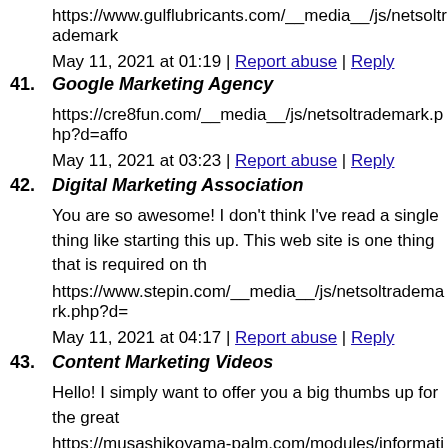https://www.gulflubricants.com/__media__/js/netsoltrademark
May 11, 2021 at 01:19 | Report abuse | Reply
41. Google Marketing Agency
https://cre8fun.com/__media__/js/netsoltrademark.php?d=affo
May 11, 2021 at 03:23 | Report abuse | Reply
42. Digital Marketing Association
You are so awesome! I don't think I've read a single thing like starting this up. This web site is one thing that is required on th
https://www.stepin.com/__media__/js/netsoltrademark.php?d=
May 11, 2021 at 04:17 | Report abuse | Reply
43. Content Marketing Videos
Hello! I simply want to offer you a big thumbs up for the great
https://musashikoyama-palm.com/modules/information6/wp-k
May 11, 2021 at 04:19 | Report abuse | Reply
44. Internet Marketing Cypress
I could not refrain from commenting. Very well written!